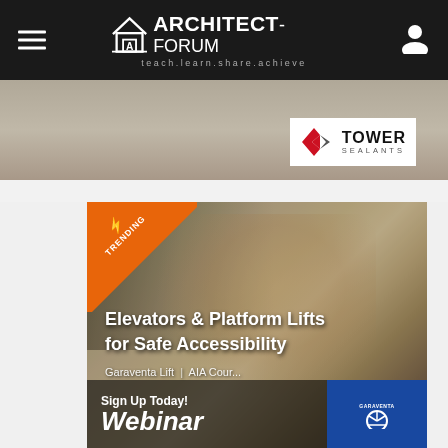ARCHITECT-FORUM teach.learn.share.achieve
[Figure (logo): Tower Sealants logo with red diamond/chevron icon and text 'TOWER SEALANTS' on white background, shown over a gray image strip]
[Figure (photo): Young smiling blonde girl seated in a wheelchair, in front of bookshelves with books, with an orange TRENDING banner in the top-left corner. Text overlay reads 'Elevators & Platform Lifts for Safe Accessibility', 'Garaventa Lift | AIA Course', and at the bottom 'Sign Up Today! Webinar' with a blue Garaventa Lift logo badge on the right.]